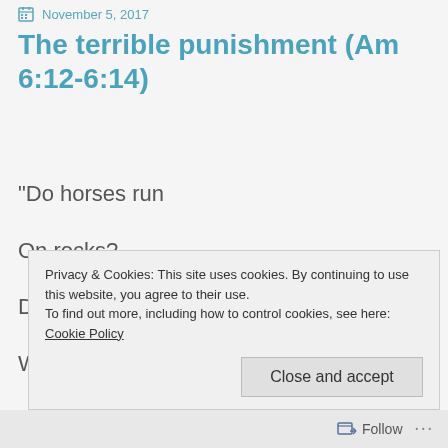November 5, 2017
The terrible punishment (Am 6:12-6:14)
“Do horses run

On rocks?

Does one plow the sea

With oxen?
Privacy & Cookies: This site uses cookies. By continuing to use this website, you agree to their use.
To find out more, including how to control cookies, see here: Cookie Policy
Close and accept
Follow ...